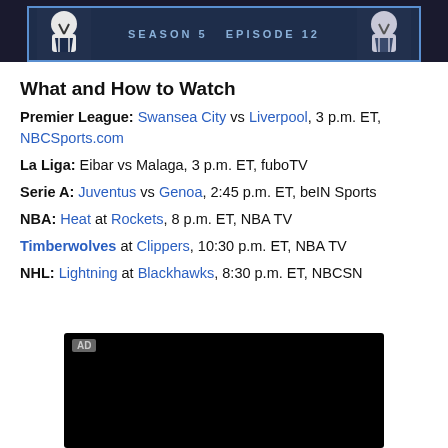[Figure (photo): Top banner image showing soccer jerseys/players with a blue border overlay, dark background]
What and How to Watch
Premier League: Swansea City vs Liverpool, 3 p.m. ET, NBCSports.com
La Liga: Eibar vs Malaga, 3 p.m. ET, fuboTV
Serie A: Juventus vs Genoa, 2:45 p.m. ET, beIN Sports
NBA: Heat at Rockets, 8 p.m. ET, NBA TV
Timberwolves at Clippers, 10:30 p.m. ET, NBA TV
NHL: Lightning at Blackhawks, 8:30 p.m. ET, NBCSN
[Figure (other): Black advertisement video player box with AD label in top-left corner]